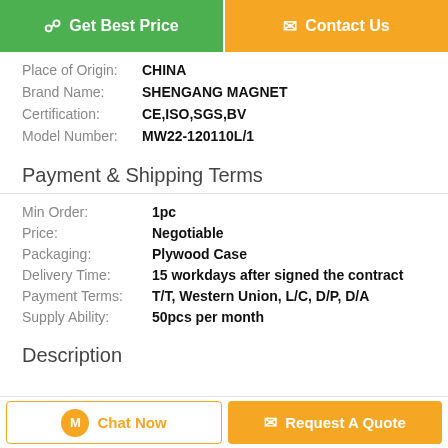Get Best Price
Contact Us
Place of Origin: CHINA
Brand Name: SHENGANG MAGNET
Certification: CE,ISO,SGS,BV
Model Number: MW22-120110L/1
Payment & Shipping Terms
Min Order: 1pc
Price: Negotiable
Packaging: Plywood Case
Delivery Time: 15 workdays after signed the contract
Payment Terms: T/T, Western Union, L/C, D/P, D/A
Supply Ability: 50pcs per month
Description
Chat Now
Request A Quote